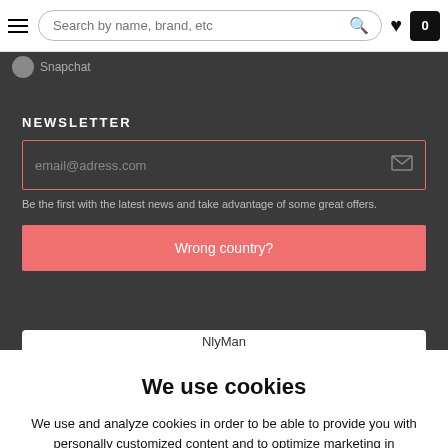Search by name, brand, etc
Snapchat
NEWSLETTER
email@adress.com
Be the first with the latest news and take advantage of some great offers.
Wrong country?
NlyMan
We use cookies
We use and analyze cookies in order to be able to provide you with personally customized content and to optimize marketing in accordance with your interests. By clicking "That's okay!", you approve our use of cookies. By clicking Settings you can customize or deny cookies. Read more about how we use cookies here.